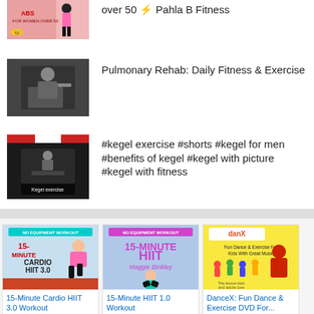over 50 ⚡ Pahla B Fitness
Pulmonary Rehab: Daily Fitness & Exercise
#kegel exercise #shorts #kegel for men #benefits of kegel #kegel with picture #kegel with fitness
[Figure (photo): 15-Minute Cardio HIIT 3.0 Workout product thumbnail with woman jumping]
15-Minute Cardio HIIT 3.0 Workout
[Figure (photo): 15-Minute HIIT 1.0 Workout product thumbnail with Maggie Binkley jumping]
15-Minute HIIT 1.0 Workout
[Figure (photo): DanceX: Fun Dance & Exercise DVD For... product thumbnail]
DanceX: Fun Dance & Exercise DVD For...